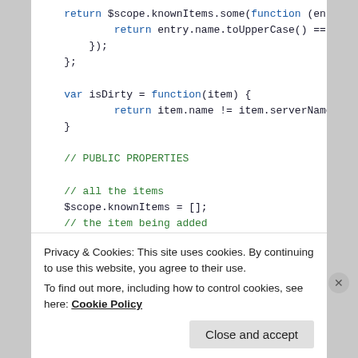return $scope.knownItems.some(function (entry) {
    return entry.name.toUpperCase() == itemName.toUp
});
};

var isDirty = function(item) {
    return item.name != item.serverName;
}

// PUBLIC PROPERTIES

// all the items
$scope.knownItems = [];
// the item being added
$scope.newItem = { name: '' };
// indicates if the view is being loaded
Privacy & Cookies: This site uses cookies. By continuing to use this website, you agree to their use.
To find out more, including how to control cookies, see here: Cookie Policy